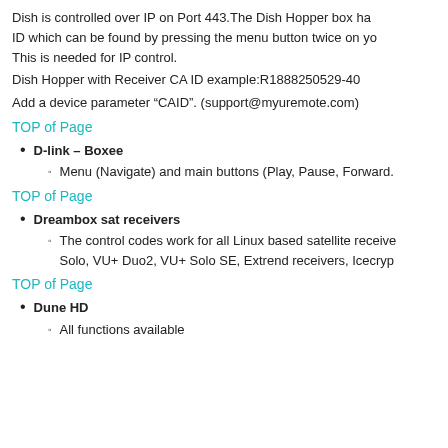Dish is controlled over IP on Port 443.The Dish Hopper box has ID which can be found by pressing the menu button twice on your. This is needed for IP control.
Dish Hopper with Receiver CA ID example:R1888250529-40
Add a device parameter “CAID”. (support@myuremote.com)
TOP of Page
D-link – Boxee
Menu (Navigate) and main buttons (Play, Pause, Forward.
TOP of Page
Dreambox sat receivers
The control codes work for all Linux based satellite receivers Solo, VU+ Duo2, VU+ Solo SE, Extrend receivers, Icecryp
TOP of Page
Dune HD
All functions available